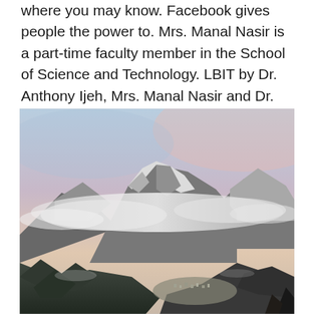where you may know. Facebook gives people the power to. Mrs. Manal Nasir is a part-time faculty member in the School of Science and Technology. LBIT by Dr. Anthony Ijeh, Mrs. Manal Nasir and Dr. Ahmed Al Masri.
[Figure (photo): Aerial photograph of a snow-capped mountain peak with clouds drifting across it, forested slopes in the foreground, and a small valley town visible below. Sky shows pastel pink and blue tones at dusk or dawn.]